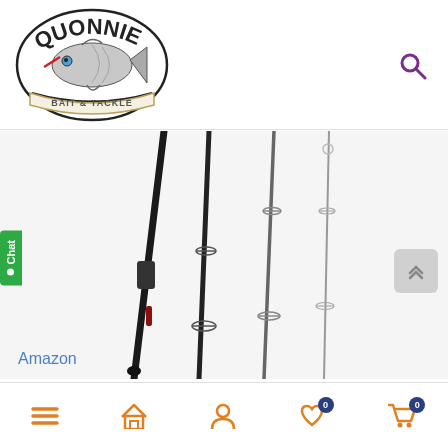[Figure (logo): Quonnie Bait & Tackle circular logo with a fish illustration]
[Figure (photo): Four fishing rod sections displayed diagonally, showing guides/rings, dark graphite construction with lighter tip sections]
Amazon
[Figure (infographic): Bottom navigation bar with hamburger menu, house/home icon, person/account icon, heart/wishlist icon with badge 0, shopping cart icon with badge 0]